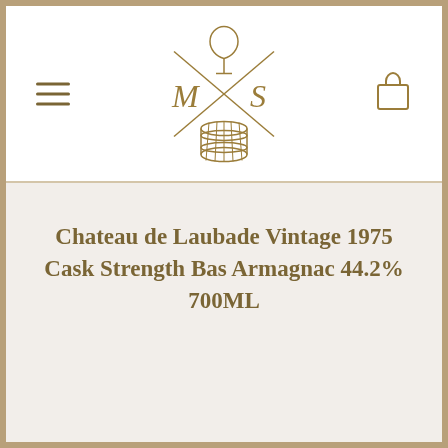[Figure (logo): M|S logo with wine glass and barrel, crossed lines forming an X between M and S letters, gold/brown color]
Chateau de Laubade Vintage 1975 Cask Strength Bas Armagnac 44.2% 700ML